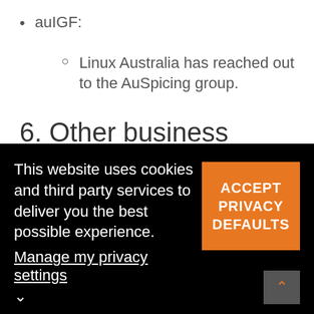auIGF:
Linux Australia has reached out to the AuSpicing group.
6. Other business
Data-breach policy:
This website uses cookies and third party services to deliver you the best possible experience. Manage my privacy settings
ACCEPT PRIVACY DEFAULTS